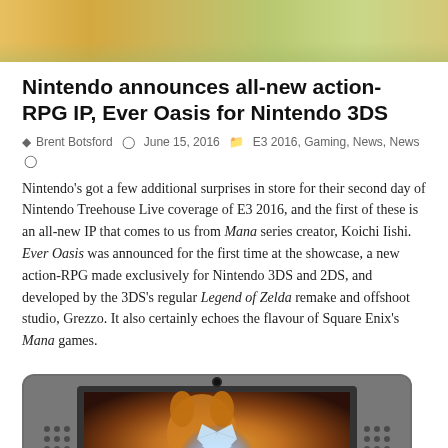[Figure (photo): Top banner image showing a colorful game scene with warm orange/yellow and green tones]
Nintendo announces all-new action-RPG IP, Ever Oasis for Nintendo 3DS
Brent Botsford   June 15, 2016   E3 2016, Gaming, News, News
Nintendo's got a few additional surprises in store for their second day of Nintendo Treehouse Live coverage of E3 2016, and the first of these is an all-new IP that comes to us from Mana series creator, Koichi Iishi. Ever Oasis was announced for the first time at the showcase, a new action-RPG made exclusively for Nintendo 3DS and 2DS, and developed by the 3DS's regular Legend of Zelda remake and offshoot studio, Grezzo. It also certainly echoes the flavour of Square Enix's Mana games.
[Figure (photo): Nintendo 3DS handheld showing a game scene with a glowing crystal/flower and animal character on screen]